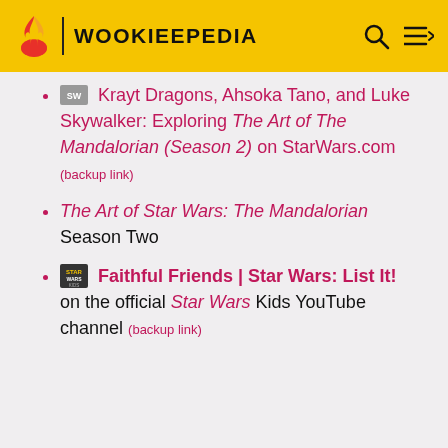WOOKIEEPEDIA
Krayt Dragons, Ahsoka Tano, and Luke Skywalker: Exploring The Art of The Mandalorian (Season 2) on StarWars.com (backup link)
The Art of Star Wars: The Mandalorian Season Two
Faithful Friends | Star Wars: List It! on the official Star Wars Kids YouTube channel (backup link)